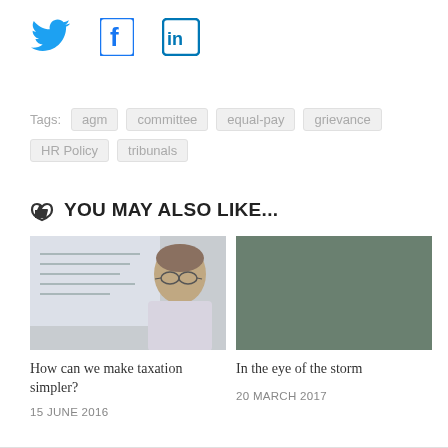[Figure (illustration): Social media icons: Twitter bird icon (blue), Facebook 'f' icon (blue), LinkedIn 'in' icon (blue)]
Tags:  agm  committee  equal-pay  grievance  HR Policy  tribunals
YOU MAY ALSO LIKE...
[Figure (photo): Photo of an older man with glasses speaking at a presentation, with text visible on a screen behind him]
[Figure (photo): Satellite image of a storm/hurricane system over the ocean, with a video timestamp badge showing 07:00]
How can we make taxation simpler?
15 JUNE 2016
In the eye of the storm
20 MARCH 2017